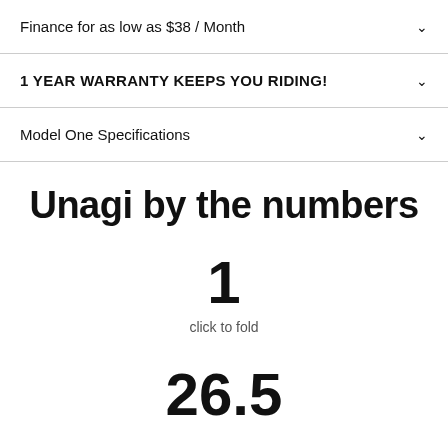Finance for as low as $38 / Month
1 YEAR WARRANTY KEEPS YOU RIDING!
Model One Specifications
Unagi by the numbers
1
click to fold
26.5